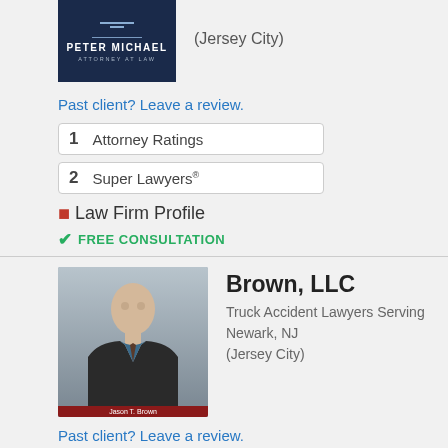[Figure (logo): Peter Michael Attorney at Law logo - dark navy background with white text]
(Jersey City)
Past client? Leave a review.
1   Attorney Ratings
2   Super Lawyers®
Law Firm Profile
FREE CONSULTATION
[Figure (photo): Photo of Jason T. Brown, a man in a suit with a red banner at the bottom showing his name]
Brown, LLC
Truck Accident Lawyers Serving Newark, NJ (Jersey City)
Past client? Leave a review.